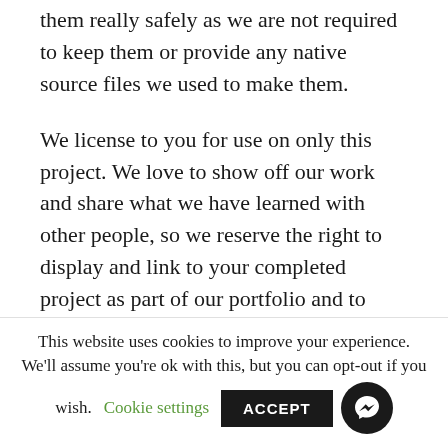them really safely as we are not required to keep them or provide any native source files we used to make them.

We license to you for use on only this project. We love to show off our work and share what we have learned with other people, so we reserve the right to display and link to your completed project as part of our portfolio and to write about the
This website uses cookies to improve your experience. We'll assume you're ok with this, but you can opt-out if you wish. Cookie settings ACCEPT